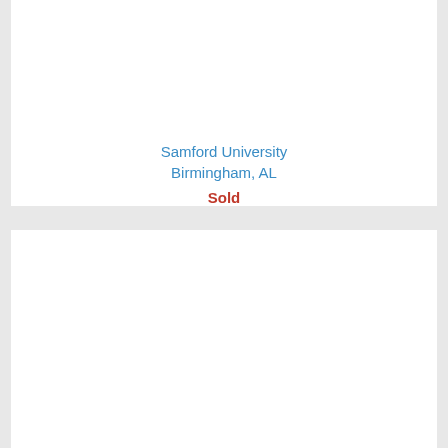Samford University
Birmingham, AL
Sold
[Figure (photo): Blank white card area for property image - Eastwood Mall]
Eastwood Mall
Birmingham, AL
Sold